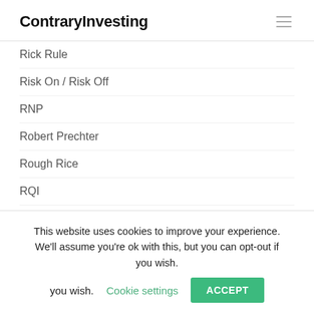ContraryInvesting
Rick Rule
Risk On / Risk Off
RNP
Robert Prechter
Rough Rice
RQI
Russell Napier
RWR
Selling Covered Calls
This website uses cookies to improve your experience. We'll assume you're ok with this, but you can opt-out if you wish. Cookie settings ACCEPT